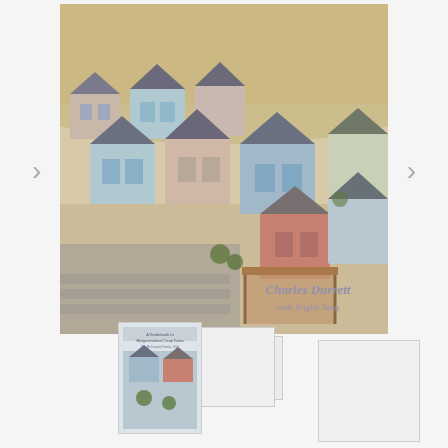[Figure (photo): Aerial view of a colorful residential community with multiple houses featuring blue, red, green, and neutral colored siding, dark roofs, and a parking area. Rolling hills visible in background. Authors overlaid: Charles Durrett with Jinglin Yang.]
[Figure (photo): Thumbnail preview of the same book cover showing the residential community aerial view with smaller stacked thumbnails behind it, representing a book or publication about cohousing.]
[Figure (photo): Smaller thumbnail image on the right side showing a white/blank document or page preview.]